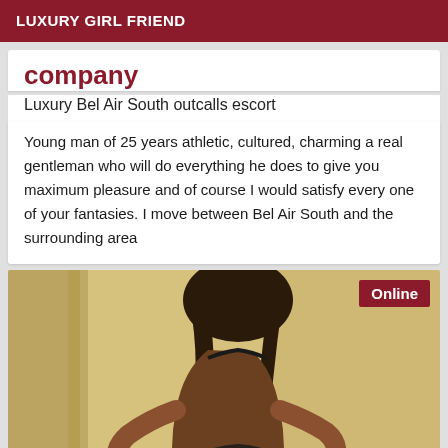LUXURY GIRL FRIEND
company
Luxury Bel Air South outcalls escort
Young man of 25 years athletic, cultured, charming a real gentleman who will do everything he does to give you maximum pleasure and of course I would satisfy every one of your fantasies. I move between Bel Air South and the surrounding area
[Figure (photo): Photo of a woman in lingerie in a room with yellow/warm toned walls, shown from behind, with an 'Online' badge in the top right corner]